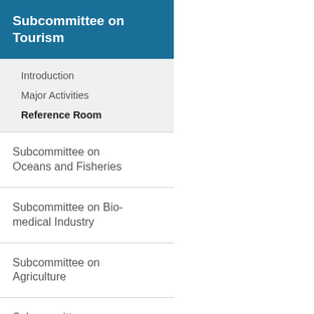Subcommittee on Tourism
Introduction
Major Activities
Reference Room
Subcommittee on Oceans and Fisheries
Subcommittee on Bio-medical Industry
Subcommittee on Agriculture
Subcommittee on Sports
Subcommittee on